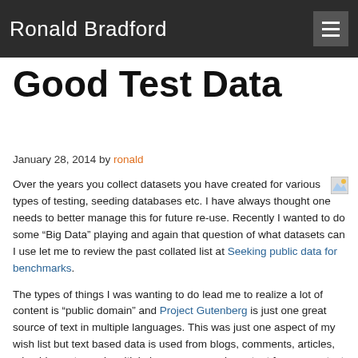Ronald Bradford
Good Test Data
January 28, 2014 by ronald
Over the years you collect datasets you have created for various types of testing, seeding databases etc. I have always thought one needs to better manage this for future re-use. Recently I wanted to do some “Big Data” playing and again that question of what datasets can I use let me to review the past collated list at Seeking public data for benchmarks.
The types of things I was wanting to do lead me to realize a lot of content is “public domain” and Project Gutenberg is just one great source of text in multiple languages. This was just one aspect of my wish list but text based data is used from blogs, comments, articles, microblogs etc, and multiple languages was important from some text analysis.
With a bit of thinking about the building blocks, I created Good Test Data. A way for me to have core data, IP’s, people’s names, User Agents strings, text for articles, comments and a lot more.